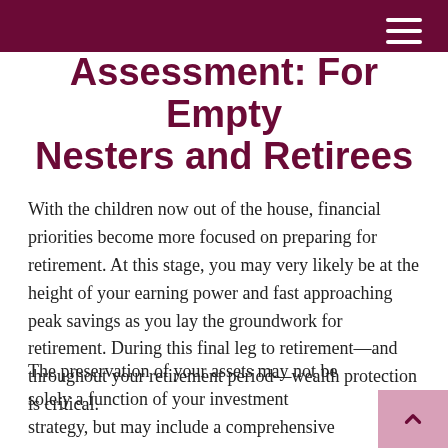Assessment: For Empty Nesters and Retirees
With the children now out of the house, financial priorities become more focused on preparing for retirement. At this stage, you may very likely be at the height of your earning power and fast approaching peak savings as you lay the groundwork for retirement. During this final leg to retirement—and throughout your retirement period—wealth protection is critical.
The preservation of your assets may not be solely a function of your investment strategy, but may include a comprehensive insurance approach to protect you against an array of financial risks, most especially health care.